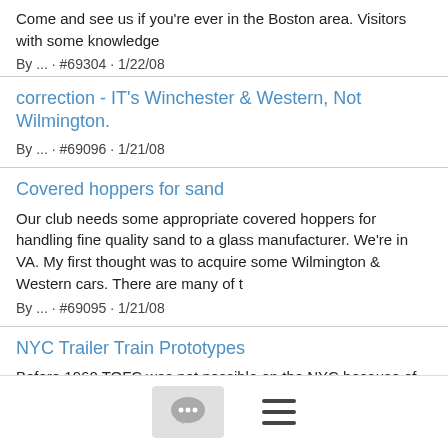Come and see us if you're ever in the Boston area. Visitors with some knowledge
By ... · #69304 · 1/22/08
correction - IT's Winchester & Western, Not Wilmington.
By ... · #69096 · 1/21/08
Covered hoppers for sand
Our club needs some appropriate covered hoppers for handling fine quality sand to a glass manufacturer. We're in VA. My first thought was to acquire some Wilmington & Western cars. There are many of t
By ... · #69095 · 1/21/08
NYC Trailer Train Prototypes
Before 1960 TOFC was not possible on the NYC because of clearances. There were many bridges east of Buffalo with 15'6" clearance. That's why we saw Flexivans on NYC and TOFC on